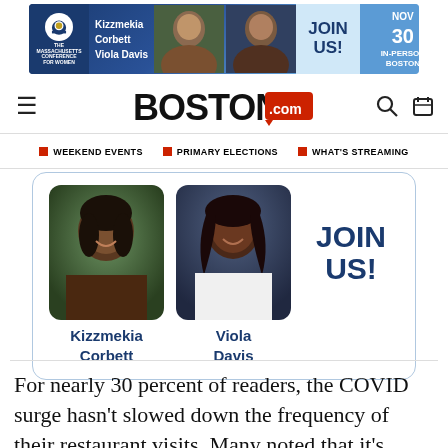[Figure (infographic): Advertisement banner for The Massachusetts Conference for Women featuring Kizzmekia Corbett and Viola Davis. Text reads JOIN US! NOV 30 IN-PERSON BOSTON with a close button.]
[Figure (logo): Boston.com logo with hamburger menu icon on left and search/calendar icons on right]
WEEKEND EVENTS  PRIMARY ELECTIONS  WHAT'S STREAMING
[Figure (infographic): Conference advertisement card with photos of Kizzmekia Corbett and Viola Davis, text JOIN US!]
For nearly 30 percent of readers, the COVID surge hasn't slowed down the frequency of their restaurant visits. Many noted that it's “time to stop living in fear.”